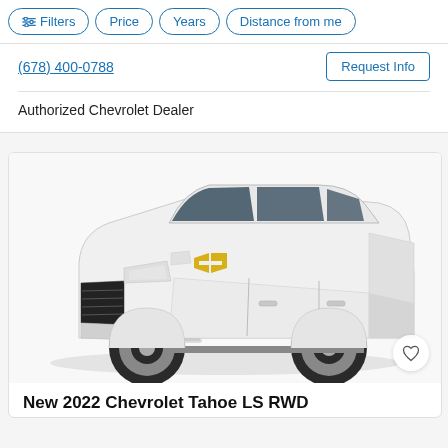Filters | Price | Years | Distance from me
(678) 400-0788
Request Info
Authorized Chevrolet Dealer
[Figure (photo): White 2022 Chevrolet Tahoe LS RWD SUV shown from front-left three-quarter angle on white background]
New 2022 Chevrolet Tahoe LS RWD